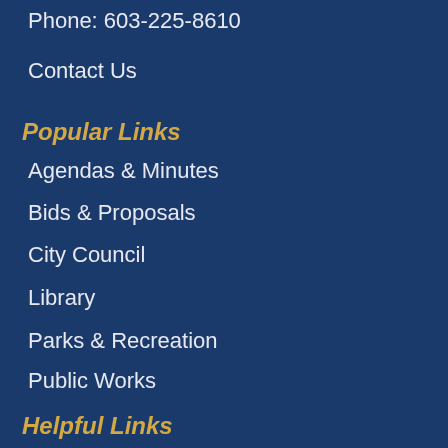Phone: 603-225-8610
Contact Us
Popular Links
Agendas & Minutes
Bids & Proposals
City Council
Library
Parks & Recreation
Public Works
Helpful Links
Audi Calendar
Automobile Registration